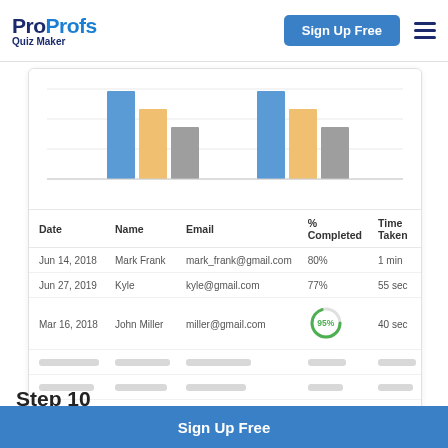ProProfs Quiz Maker | Sign Up Free
[Figure (grouped-bar-chart): Grouped bar chart with blue, orange, and gray bars in two groups]
| Date | Name | Email | % Completed | Time Taken |
| --- | --- | --- | --- | --- |
| Jun 14, 2018 | Mark Frank | mark_frank@gmail.com | 80% | 1 min |
| Jun 27, 2019 | Kyle | kyle@gmail.com | 77% | 55 sec |
| Mar 16, 2018 | John Miller | miller@gmail.com | 95% | 40 sec |
Step 10
Sign Up Free